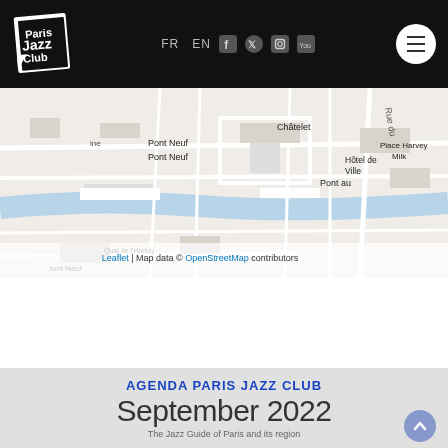Paris Jazz Club — FR EN — social icons — menu
[Figure (map): OpenStreetMap showing central Paris area around Châtelet, Pont Neuf, Hôtel de Ville, Place Harvey Milk. Map data © OpenStreetMap contributors. Leaflet.]
Leaflet | Map data © OpenStreetMap contributors
AGENDA PARIS JAZZ CLUB
September 2022
The Jazz Guide of Paris and its region